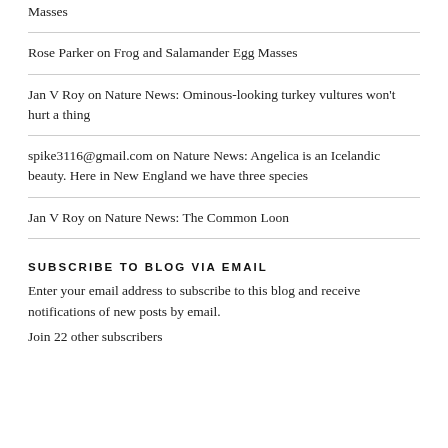Masses
Rose Parker on Frog and Salamander Egg Masses
Jan V Roy on Nature News: Ominous-looking turkey vultures won't hurt a thing
spike3116@gmail.com on Nature News: Angelica is an Icelandic beauty. Here in New England we have three species
Jan V Roy on Nature News: The Common Loon
SUBSCRIBE TO BLOG VIA EMAIL
Enter your email address to subscribe to this blog and receive notifications of new posts by email.
Join 22 other subscribers